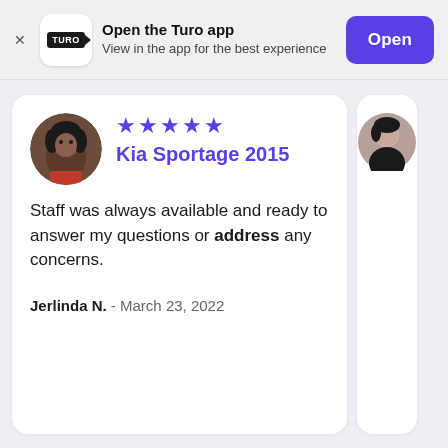[Figure (logo): Turo app banner with logo, text 'Open the Turo app / View in the app for the best experience', and a purple 'Open' button]
Open the Turo app
View in the app for the best experience
[Figure (photo): Review card with circular profile photo of a young Black woman, 5 purple stars, car name 'Kia Sportage 2015', review text, and reviewer info]
Kia Sportage 2015
Staff was always available and ready to answer my questions or address any concerns.
Jerlinda N. - March 23, 2022